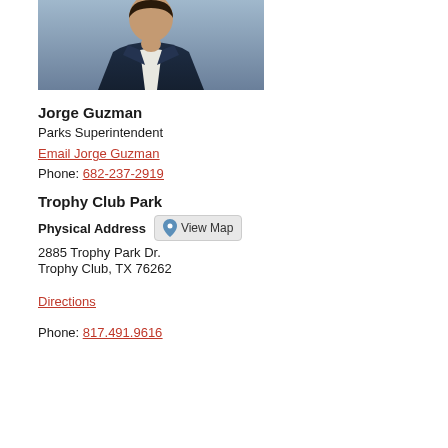[Figure (photo): Photo of Jorge Guzman in a dark navy suit with white shirt, cropped to show upper torso and partial face at top of page]
Jorge Guzman
Parks Superintendent
Email Jorge Guzman
Phone: 682-237-2919
Trophy Club Park
Physical Address
2885 Trophy Park Dr.
Trophy Club, TX 76262
Directions
Phone: 817.491.9616